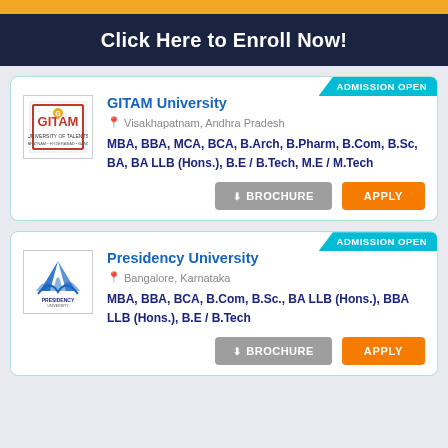Click Here to Enroll Now!
GITAM University
Visakhapatnam, Andhra Pradesh
MBA, BBA, MCA, BCA, B.Arch, B.Pharm, B.Com, B.Sc, BA, BA LLB (Hons.), B.E / B.Tech, M.E / M.Tech
ADMISSION OPEN
Presidency University
Bangalore, Karnataka
MBA, BBA, BCA, B.Com, B.Sc., BA LLB (Hons.), BBA LLB (Hons.), B.E / B.Tech
ADMISSION OPEN